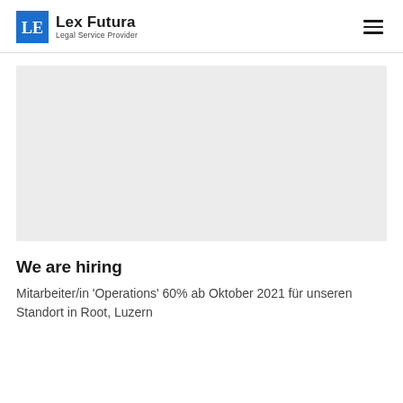Lex Futura — Legal Service Provider
[Figure (illustration): Large light gray rectangular image placeholder area]
We are hiring
Mitarbeiter/in 'Operations' 60% ab Oktober 2021 für unseren Standort in Root, Luzern